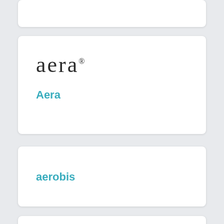[Figure (logo): Partial white card at top, partially visible]
[Figure (logo): Aera brand logo in serif lowercase letters with registered trademark symbol]
Aera
aerobis
[Figure (logo): Partial white card at bottom, partially visible]